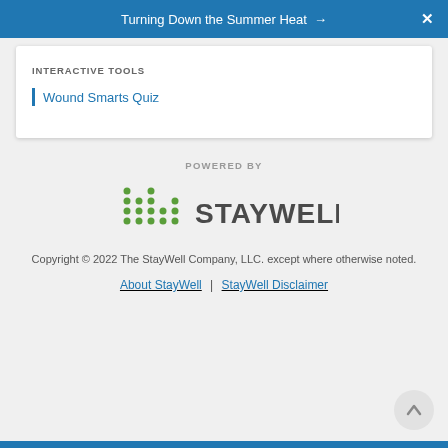Turning Down the Summer Heat →   ✕
INTERACTIVE TOOLS
Wound Smarts Quiz
POWERED BY
[Figure (logo): StayWell logo with green dot-bar chart icon and STAYWELL text]
Copyright © 2022 The StayWell Company, LLC. except where otherwise noted.
About StayWell | StayWell Disclaimer